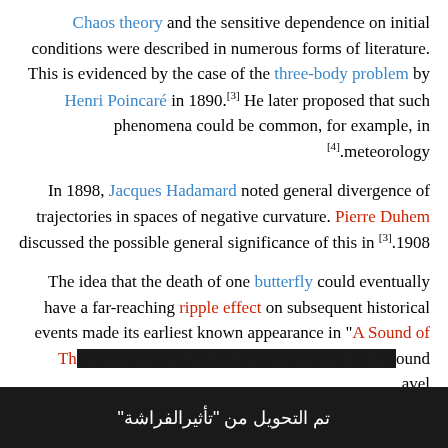Chaos theory and the sensitive dependence on initial conditions were described in numerous forms of literature. This is evidenced by the case of the three-body problem by Henri Poincaré in 1890.[3] He later proposed that such phenomena could be common, for example, in [4].meteorology
In 1898, Jacques Hadamard noted general divergence of trajectories in spaces of negative curvature. Pierre Duhem discussed the possible general significance of this in [3].1908
The idea that the death of one butterfly could eventually have a far-reaching ripple effect on subsequent historical events made its earliest known appearance in "A Sound of Th... ound ... avel
تم التحويل من "تأثير الفراشة"